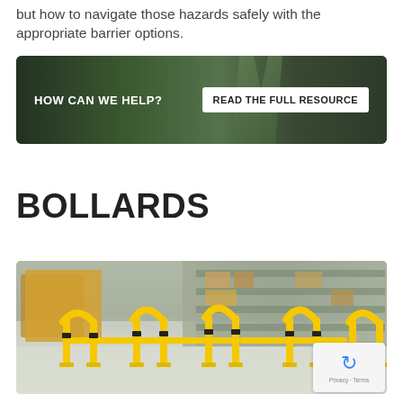but how to navigate those hazards safely with the appropriate barrier options.
[Figure (photo): Banner image showing warehouse workers with text 'HOW CAN WE HELP?' and a button 'READ THE FULL RESOURCE']
BOLLARDS
[Figure (photo): Photograph of yellow bollard barriers installed in a warehouse/distribution center, protecting shelving and walkways.]